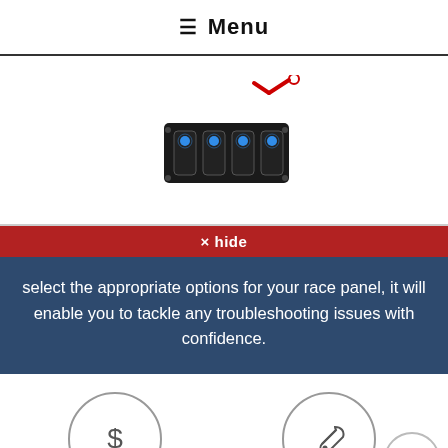☰ Menu
[Figure (photo): A black 4-switch rocker switch panel with blue LED lights and red wired connector]
× hide
select the appropriate options for your race panel, it will enable you to tackle any troubleshooting issues with confidence.
[Figure (illustration): Dollar sign icon in a circle, labeled Low Prices]
[Figure (illustration): Wrench icon in a circle, labeled Easy Installation]
[Figure (illustration): Scroll-up arrow button circle (partial)]
[Figure (illustration): Two partial circles at bottom of page (cut off)]